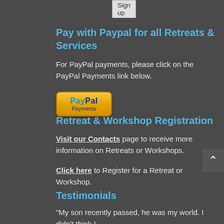[Figure (screenshot): Sign up button at top of page]
Pay with Paypal for all Retreats & Services
For PayPal payments, please click on the PayPal Payments link below.
[Figure (logo): PayPal Payments button - gold/orange gradient button with PayPal Payments text]
Retreat & Workshop Registration
Visit our Contacts page to receive more information on Retreats or Workshops.
Click here to Register for a Retreat or Workshop.
Testimonials
"My son recently passed, he was my world. I didn't think I